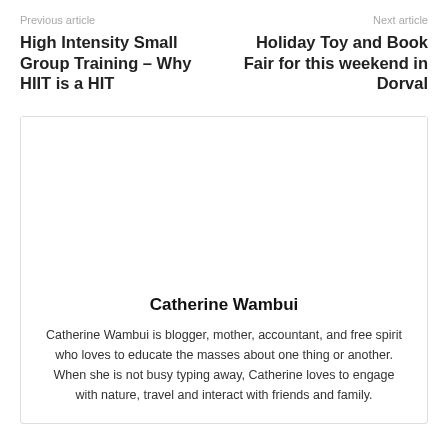Previous article
Next article
High Intensity Small Group Training – Why HIIT is a HIT
Holiday Toy and Book Fair for this weekend in Dorval
Catherine Wambui
Catherine Wambui is blogger, mother, accountant, and free spirit who loves to educate the masses about one thing or another. When she is not busy typing away, Catherine loves to engage with nature, travel and interact with friends and family.